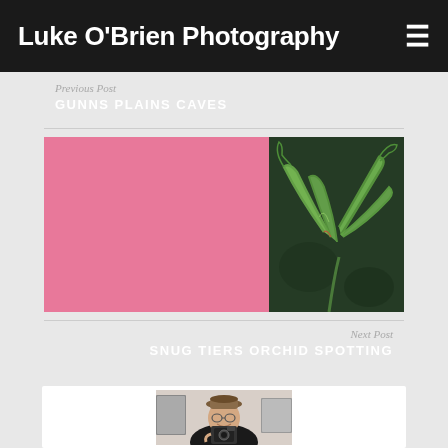Luke O'Brien Photography
Previous Post
GUNNS PLAINS CAVES
[Figure (photo): Wide banner image split into pink solid left portion and macro photo of green orchid flower on dark background on right]
Next Post
SNUG TIERS ORCHID SPOTTING
[Figure (photo): Portrait photo of a man wearing a hat and glasses, smiling and holding a camera, inside a white about card section]